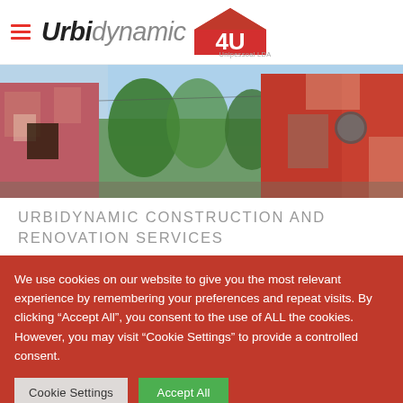Urbidynamic 4U Unipessoal LDA
[Figure (photo): Exterior photo of red/pink building with peeling paint and vegetation, construction/renovation context]
URBIDYNAMIC CONSTRUCTION AND RENOVATION SERVICES
We use cookies on our website to give you the most relevant experience by remembering your preferences and repeat visits. By clicking "Accept All", you consent to the use of ALL the cookies. However, you may visit "Cookie Settings" to provide a controlled consent.
Cookie Settings | Accept All